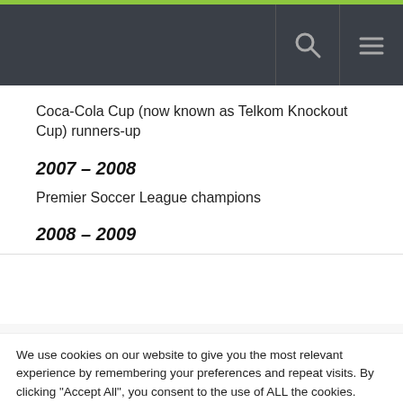Navigation bar with search and menu icons
Coca-Cola Cup (now known as Telkom Knockout Cup) runners-up
2007 – 2008
Premier Soccer League champions
2008 – 2009
We use cookies on our website to give you the most relevant experience by remembering your preferences and repeat visits. By clicking “Accept All”, you consent to the use of ALL the cookies. However, you may visit “Cookie Settings” to provide a controlled consent. | Privacy Policy
Cookie Settings | Accept All